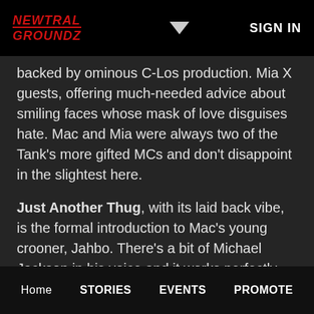NEWTRAL GROUNDZ | SIGN IN
backed by ominous C-Los production. Mia X guests, offering much-needed advice about smiling faces whose mask of love disguises hate. Mac and Mia were always two of the Tank's more gifted MCs and don't disappoint in the slightest here.
Just Another Thug, with its laid back vibe, is the formal introduction to Mac's young crooner, Jahbo. There's a bit of Michael Jackson in his voice and it works perfectly with this C-Murder-assisted hook.
Home  STORIES  EVENTS  PROMOTE